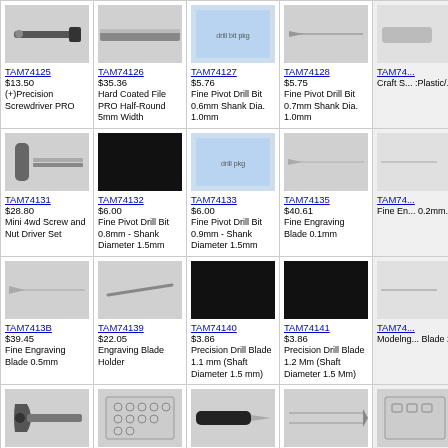| Col1 | Col2 | Col3 | Col4 | Col5 |
| --- | --- | --- | --- | --- |
| TAM74125 $13.50 (+)Precision Screwdriver PRO | TAM74126 $35.36 Hard Coated File PRO Half-Round 5mm Width | TAM74127 $5.76 Fine Pivot Drill Bit 0.6mm Shank Dia. 1.0mm | TAM74128 $5.75 Fine Pivot Drill Bit 0.7mm Shank Dia. 1.0mm | TAM74... Craft S... :Plastic/... |
| TAM74131 $28.80 Mini 4wd Screw and Nut Driver Set | TAM74132 $6.00 Fine Pivot Drill Bit 0.8mm - Shank Diameter 1.5mm | TAM74133 $6.00 Fine Pivot Drill Bit 0.9mm - Shank Diameter 1.5mm | TAM74135 $40.61 Fine Engraving Blade 0.1mm | TAM74... Fine En... 0.2mm... |
| TAM74138 $39.45 Fine Engraving Blade 0.5mm | TAM74139 $22.05 Engraving Blade Holder | TAM74140 $3.86 Precision Drill Blade 1.1 mm (Shaft Diameter 1.5 mm) | TAM74141 $3.86 Precision Drill Blade 1.2 Mm (Shaft Diameter 1.5 Mm) | TAM74... Modelng... Blade 2... |
| TAM74146 $40.00 Needle Nose W/Cutter Ii | TAM74150 $12.19 Modeling Template Round 1-12.5mm | TAM74153 $5.98 Craft Knife Ii | TAM74155 $29.18 Hg Tweezers (Grip Type Tip) | TAM74... Modelin... (Square... |
| TAM74158 $19.15 Mini 4wd Tools Side Cutters, + Screwdriver | TAM74159 $9.29 Modelers Knife Pro Replacement Narrow Chisel 5 | TAM74160 $9.29 Modeler s Knife Pro Replacement Scriber (5) | TAM74161 $9.29 Modeler's Knife Pro Replacement Scraper 2 | TAM74... Fine En... 0.25mm... |